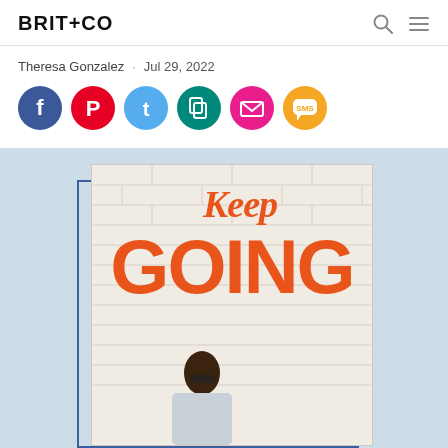BRIT+CO
Theresa Gonzalez · Jul 29, 2022
[Figure (infographic): Six social sharing buttons in circles: Facebook (dark blue), Pinterest (red), Twitter (light blue), Copy/Clipboard (teal), Email (pink), SMS (orange)]
[Figure (photo): Image showing a motivational poster on a white brick wall reading 'Keep GOING' in orange script and bold letters, with a person in sunglasses partially visible at the bottom]